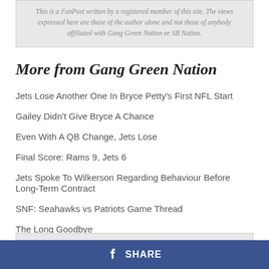This is a FanPost written by a registered member of this site. The views expressed here are those of the author alone and not those of anybody affiliated with Gang Green Nation or SB Nation.
More from Gang Green Nation
Jets Lose Another One In Bryce Petty's First NFL Start
Gailey Didn't Give Bryce A Chance
Even With A QB Change, Jets Lose
Final Score: Rams 9, Jets 6
Jets Spoke To Wilkerson Regarding Behaviour Before Long-Term Contract
SNF: Seahawks vs Patriots Game Thread
The Long Goodbye
SHARE